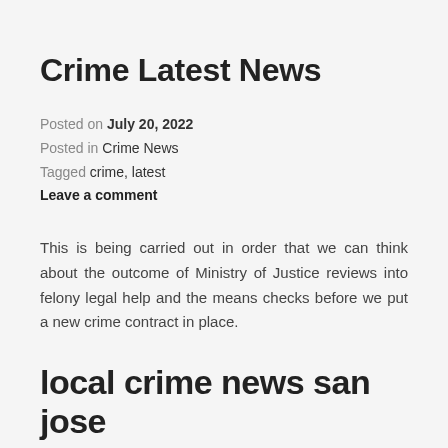Crime Latest News
Posted on July 20, 2022
Posted in Crime News
Tagged crime, latest
Leave a comment
This is being carried out in order that we can think about the outcome of Ministry of Justice reviews into felony legal help and the means checks before we put a new crime contract in place.
local crime news san jose